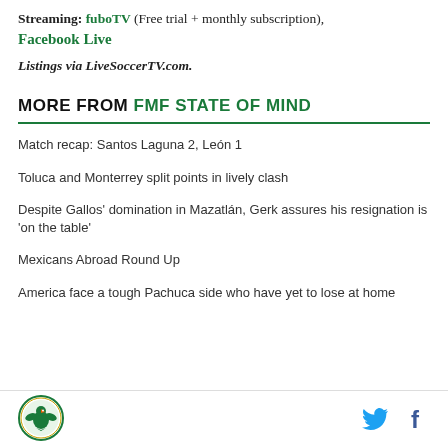Streaming: fuboTV (Free trial + monthly subscription), Facebook Live
Listings via LiveSoccerTV.com.
MORE FROM FMF STATE OF MIND
Match recap: Santos Laguna 2, León 1
Toluca and Monterrey split points in lively clash
Despite Gallos' domination in Mazatlán, Gerk assures his resignation is 'on the table'
Mexicans Abroad Round Up
America face a tough Pachuca side who have yet to lose at home
[Figure (logo): FMF State of Mind circular logo with eagle emblem]
[Figure (logo): Twitter bird icon and Facebook f icon]